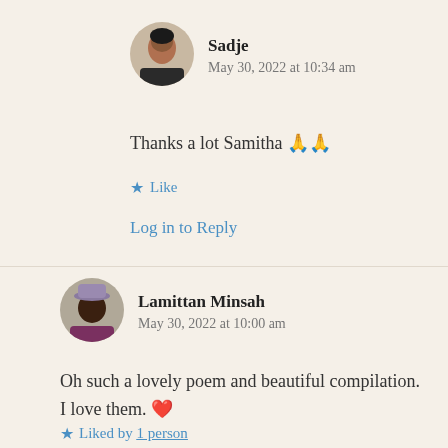[Figure (illustration): Circular avatar photo of Sadje, a woman in dark clothing]
Sadje
May 30, 2022 at 10:34 am
Thanks a lot Samitha 🙏🙏
★ Like
Log in to Reply
[Figure (illustration): Circular avatar photo of Lamittan Minsah, a man wearing a hat]
Lamittan Minsah
May 30, 2022 at 10:00 am
Oh such a lovely poem and beautiful compilation. I love them. ❤
★ Liked by 1 person